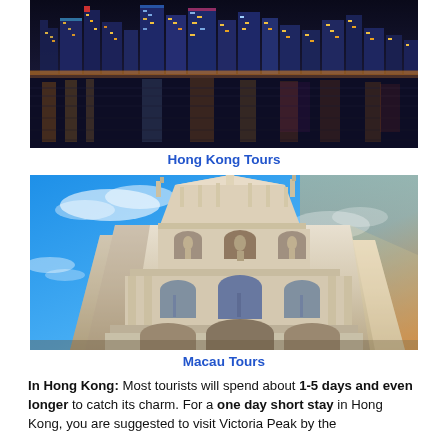[Figure (photo): Hong Kong city skyline at night reflected in water, colorful illuminated skyscrapers]
Hong Kong Tours
[Figure (photo): Ruins of St. Paul's Cathedral facade in Macau, ornate baroque stonework against blue sky]
Macau Tours
In Hong Kong: Most tourists will spend about 1-5 days and even longer to catch its charm. For a one day short stay in Hong Kong, you are suggested to visit Victoria Peak by the